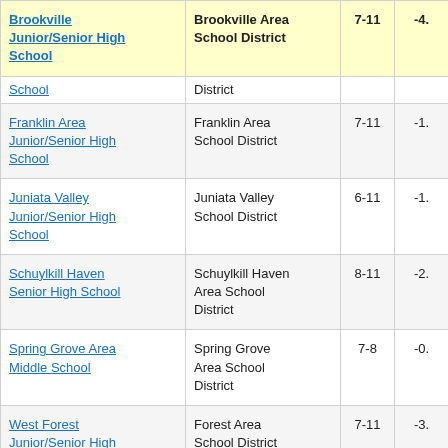| School | District | Grades | Value |
| --- | --- | --- | --- |
| Brookville Junior/Senior High School | Brookville Area School District | 7-11 | -4. |
| School | District |  |  |
| Franklin Area Junior/Senior High School | Franklin Area School District | 7-11 | -1. |
| Juniata Valley Junior/Senior High School | Juniata Valley School District | 6-11 | -1. |
| Schuylkill Haven Senior High School | Schuylkill Haven Area School District | 8-11 | -2. |
| Spring Grove Area Middle School | Spring Grove Area School District | 7-8 | -0. |
| West Forest Junior/Senior High School | Forest Area School District | 7-11 | -3. |